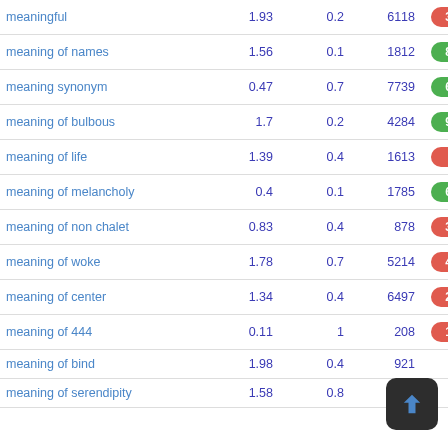| Keyword | Col1 | Col2 | Col3 | Score |
| --- | --- | --- | --- | --- |
| meaningful | 1.93 | 0.2 | 6118 | 32 |
| meaning of names | 1.56 | 0.1 | 1812 | 86 |
| meaning synonym | 0.47 | 0.7 | 7739 | 65 |
| meaning of bulbous | 1.7 | 0.2 | 4284 | 92 |
| meaning of life | 1.39 | 0.4 | 1613 | 4 |
| meaning of melancholy | 0.4 | 0.1 | 1785 | 63 |
| meaning of non chalet | 0.83 | 0.4 | 878 | 37 |
| meaning of woke | 1.78 | 0.7 | 5214 | 42 |
| meaning of center | 1.34 | 0.4 | 6497 | 21 |
| meaning of 444 | 0.11 | 1 | 208 | 10 |
| meaning of bind | 1.98 | 0.4 | 921 |  |
| meaning of serendipity | 1.58 | 0.8 | 926 |  |